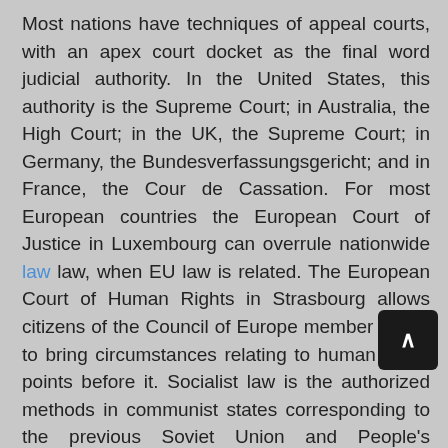Most nations have techniques of appeal courts, with an apex court docket as the final word judicial authority. In the United States, this authority is the Supreme Court; in Australia, the High Court; in the UK, the Supreme Court; in Germany, the Bundesverfassungsgericht; and in France, the Cour de Cassation. For most European countries the European Court of Justice in Luxembourg can overrule nationwide law law, when EU law is related. The European Court of Human Rights in Strasbourg allows citizens of the Council of Europe member states to bring circumstances relating to human rights points before it. Socialist law is the authorized methods in communist states corresponding to the previous Soviet Union and People's Republic of China.
When contracts are invalidated for some cause (e.g. a car